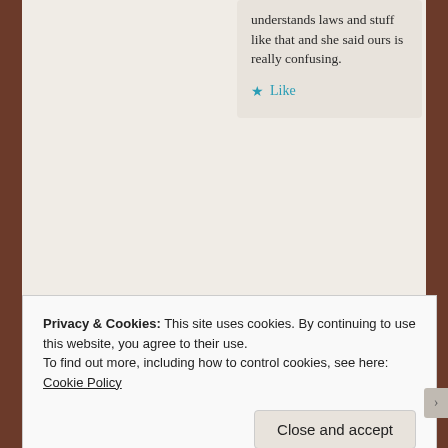understands laws and stuff like that and she said ours is really confusing.
★ Like
Advertisements
[Figure (other): Automattic advertisement: AUT@MATTIC logo and tagline 'Build a better web and a better world.']
REPORT THIS AD
Privacy & Cookies: This site uses cookies. By continuing to use this website, you agree to their use.
To find out more, including how to control cookies, see here: Cookie Policy
Close and accept